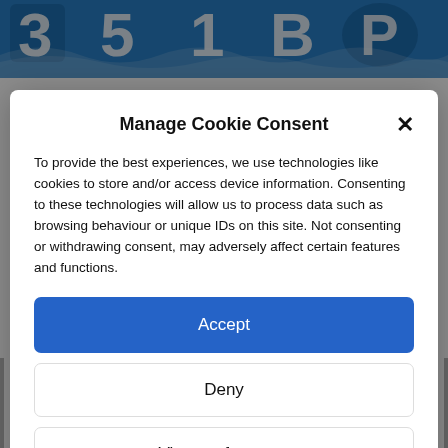[Figure (screenshot): Blue and white decorative logo/header image at the top of the page, partially visible behind modal overlay]
Manage Cookie Consent
To provide the best experiences, we use technologies like cookies to store and/or access device information. Consenting to these technologies will allow us to process data such as browsing behaviour or unique IDs on this site. Not consenting or withdrawing consent, may adversely affect certain features and functions.
Accept
Deny
View preferences
Cookie Policy   Privacy & Cookie Policy, Terms of Use
[Figure (screenshot): Partial view of bold serif text 'Safeguarding' and partial text below it, visible at the bottom behind the modal overlay]